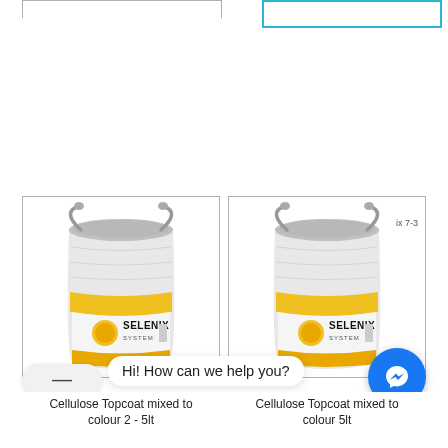[Figure (photo): Two white paint buckets with Selenix System branding and yellow/gold stripe label, shown side by side as product cards with border boxes]
Hi! How can we help you?
ix 7-3
Cellulose Topcoat mixed to colour 2 - 5lt
Cellulose Topcoat mixed to colour 5lt